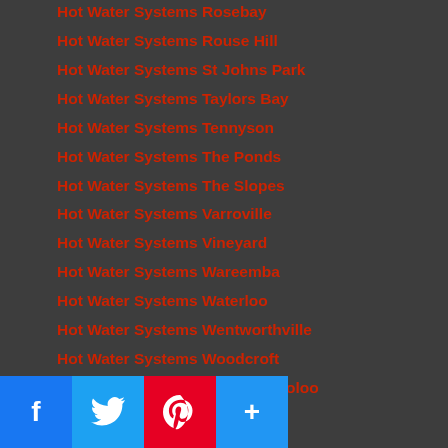Hot Water Systems Rosebay
Hot Water Systems Rouse Hill
Hot Water Systems St Johns Park
Hot Water Systems Taylors Bay
Hot Water Systems Tennyson
Hot Water Systems The Ponds
Hot Water Systems The Slopes
Hot Water Systems Varroville
Hot Water Systems Vineyard
Hot Water Systems Wareemba
Hot Water Systems Waterloo
Hot Water Systems Wentworthville
Hot Water Systems Woodcroft
Hot Water Systems Woolloomooloo
Hot Water Systems Woolwich
Hoxton Park Plumbers
Illawong Plumbers
Inner West Plumbers
Inner West Hot Water Experts